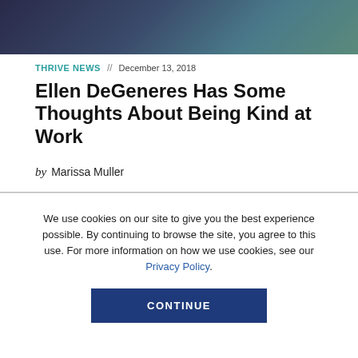[Figure (photo): Dark blurred photo at top of page, appears to show people or a scene with dark blue/green tones]
THRIVE NEWS // December 13, 2018
Ellen DeGeneres Has Some Thoughts About Being Kind at Work
by Marissa Muller
We use cookies on our site to give you the best experience possible. By continuing to browse the site, you agree to this use. For more information on how we use cookies, see our Privacy Policy.
CONTINUE